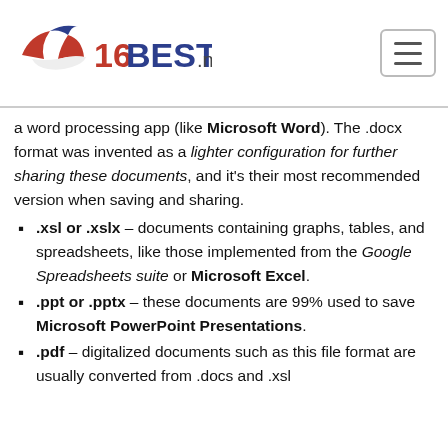16BEST.net
a word processing app (like Microsoft Word). The .docx format was invented as a lighter configuration for further sharing these documents, and it’s their most recommended version when saving and sharing.
.xsl or .xslx – documents containing graphs, tables, and spreadsheets, like those implemented from the Google Spreadsheets suite or Microsoft Excel.
.ppt or .pptx – these documents are 99% used to save Microsoft PowerPoint Presentations.
.pdf – digitalized documents such as this file format are usually converted from .docs and .xsl documents.